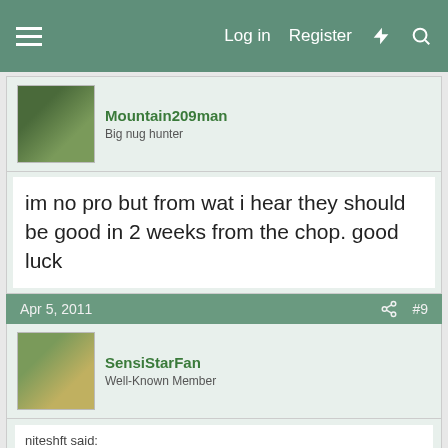Log in  Register
Mountain209man
Big nug hunter
im no pro but from wat i hear they should be good in 2 weeks from the chop. good luck
Apr 5, 2011  #9
SensiStarFan
Well-Known Member
niteshft said:
I just checked my seeds today and they were all gone bad. They were viable at one time as I have a couple in flower. I may have packaged too, soon and spoiled. I harvested them during the site outage but not sure how long I waited before I bagged them. Like I said, one month old before I planted a successful grow, tho.